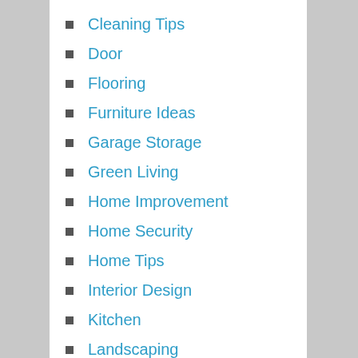Cleaning Tips
Door
Flooring
Furniture Ideas
Garage Storage
Green Living
Home Improvement
Home Security
Home Tips
Interior Design
Kitchen
Landscaping
Lighting
Moving
Patio Deck
Pest Control